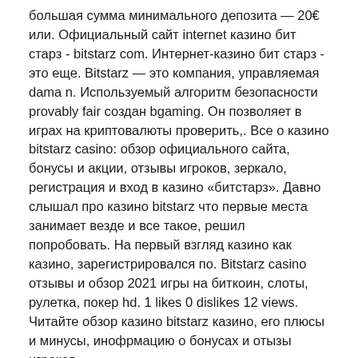большая сумма минимального депозита — 20€ или. Официальный сайт internet казино бит старз - bitstarz com. Интернет-казино бит старз - это еще. Bitstarz — это компания, управляемая dama n. Используемый алгоритм безопасности provably fair создан bgaming. Он позволяет в играх на криптовалюты проверить,. Все о казино bitstarz casino: обзор официального сайта, бонусы и акции, отзывы игроков, зеркало, регистрация и вход в казино «битстарз». Давно слышал про казино bitstarz что первые места занимает везде и все такое, решил попробовать. На первый взгляд казино как казино, зарегистрировался по. Bitstarz casino отзывы и обзор 2021 игры на биткоин, слоты, рулетка, покер hd. 1 likes 0 dislikes 12 views. Читайте обзор казино bitstarz казино, его плюсы и минусы, инофрмацию о бонусах и отызы игроков.